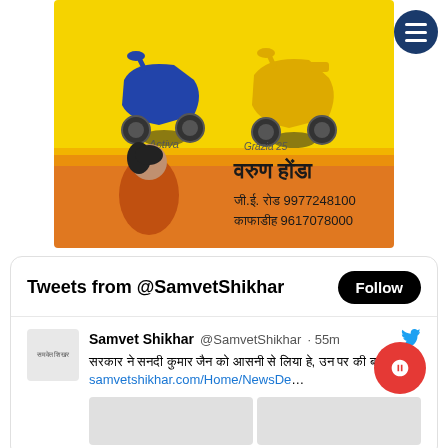[Figure (photo): Honda scooter advertisement in Hindi showing two scooters (Activa and Grazia 25) on yellow background with orange bottom section, woman in orange dress, and dealership info: वरुण होंडा, जी.ई. रोड 9977248100, काफाडीह 9617078000]
Tweets from @SamvetShikhar
Samvet Shikhar @SamvetShikhar · 55m
Hindi tweet text with link to samvetshikhar.com/Home/NewsDe...